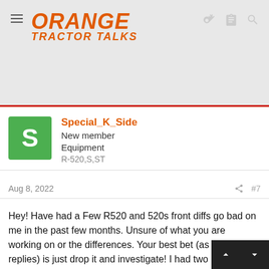ORANGE TRACTOR TALKS
Special_K_Side
New member
Equipment
R-520,S,ST
Aug 8, 2022  #7
Hey! Have had a Few R520 and 520s front diffs go bad on me in the past few months. Unsure of what you are working on or the differences. Your best bet (as per other replies) is just drop it and investigate! I had two R520S front diffs blow apart and dropped them both and managed to build one of two (Shafts, bearings, planetary and crown gears had too